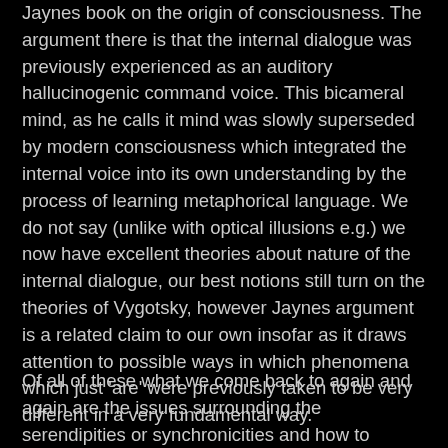Jaynes book on the origin of consciousness. The argument there is that the internal dialogue was previously experienced as an auditory hallucinogenic command voice. This bicameral mind, as he calls it mind was slowly superseded by modern consciousness which integrated the internal voice into its own understanding by the process of learning metaphorical language. We do not say (unlike with optical illusions e.g.) we now have excellent theories about nature of the internal dialogue, our best notions still turn on the theories of Vygotsky, however Jaynes argument is a related claim to our own insofar as it draws attention to possible ways in which phenomena which just 'are' were previously taken to be very different in a very fundamental way.
Of all of these what we come back to again and again are the issues surrounding the serendipities or synchronicities and how to conceive these in this more fundamental way.